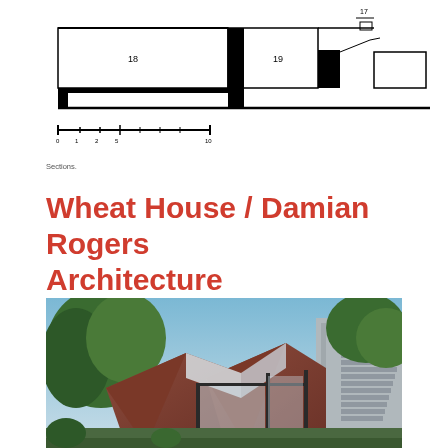[Figure (engineering-diagram): Architectural section drawing of a building showing rooms labeled 18 and 19, with a scale bar below. The section shows horizontal floor levels, wall elements, and roofline silhouette.]
Sections.
Wheat House / Damian Rogers Architecture
[Figure (photo): Exterior photograph of the Wheat House showing angular geometric roofline with triangular corten steel forms, glass walls, surrounding trees and a staircase on the right side under a blue sky.]